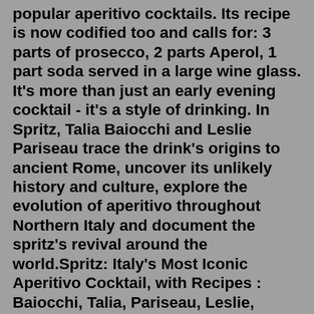popular aperitivo cocktails. Its recipe is now codified too and calls for: 3 parts of prosecco, 2 parts Aperol, 1 part soda served in a large wine glass. It's more than just an early evening cocktail - it's a style of drinking. In Spritz, Talia Baiocchi and Leslie Pariseau trace the drink's origins to ancient Rome, uncover its unlikely history and culture, explore the evolution of aperitivo throughout Northern Italy and document the spritz's revival around the world.Spritz: Italy's Most Iconic Aperitivo Cocktail, with Recipes : Baiocchi, Talia, Pariseau, Leslie, Editors of PUNCH: Amazon.de: Books Mar 10, 2016 · Excerpted from Spritz, Italy's Most Iconic Aperitivo Cocktail. 1 ounce Amaro Nardini. ¼ ounce Aperol. ¼ ounce fresh lemon juice. ¼ ounce Castelvetrano olive brine. 2½ ounces prosecco. 2 ... Mar 22, 2016 · Spritz, Italy's Most Iconic Aperitivo Cocktail, with Recipes (Ten Speed Press, 2016) is a breezy little book filled with rich historical and cultural information about the spritz cocktail. The book includes beautiful art deco illustrations and graphics, as well as recipes for